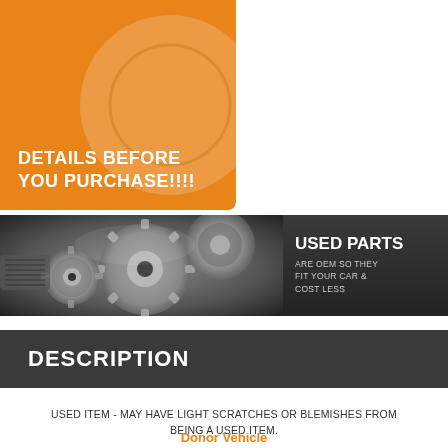[Figure (illustration): Orange banner with white bold text: 'DETAILS BEFORE YOU PURCHASE!!!!']
[Figure (photo): Wide automotive gears/transmission photo banner with dark right panel reading 'USED PARTS ARE OEM SO THEY FIT YOUR CAR & COST LESS']
DESCRIPTION
USED ITEM - MAY HAVE LIGHT SCRATCHES OR BLEMISHES FROM BEING A USED ITEM.
Donor Vehicle
VIN:    2C3CDXBG8EH192554
Model:    CHARGER